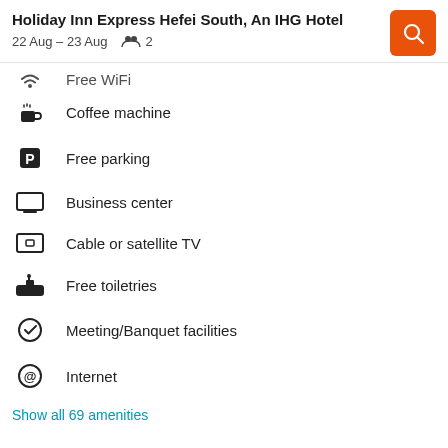Holiday Inn Express Hefei South, An IHG Hotel
22 Aug – 23 Aug   2
Free WiFi
Coffee machine
Free parking
Business center
Cable or satellite TV
Free toiletries
Meeting/Banquet facilities
Internet
Show all 69 amenities